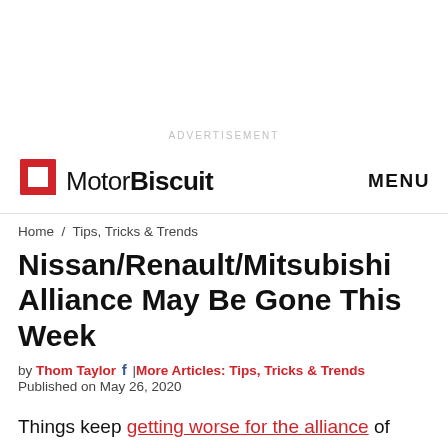ADVERTISEMENT
MotorBiscuit   MENU
Home / Tips, Tricks & Trends
Nissan/Renault/Mitsubishi Alliance May Be Gone This Week
by Thom Taylor | More Articles: Tips, Tricks & Trends
Published on May 26, 2020
Things keep getting worse for the alliance of automakers Nissan, Renault, and Mitsubishi.